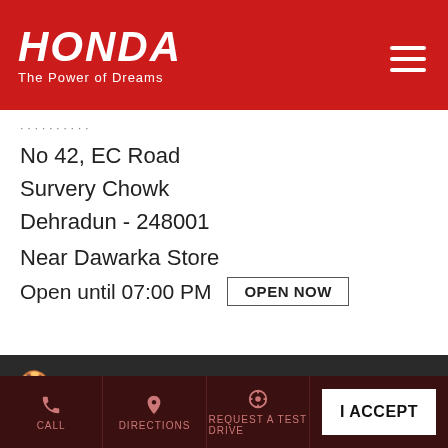[Figure (logo): Honda logo with tagline 'The Power of Dreams' on red background]
No 42, EC Road
Survery Chowk
Dehradun - 248001
Near Dawarka Store
Open until 07:00 PM  OPEN NOW
✓ Sales
Cookie Information
We use cookies to improve your experience on our site and to show the relevant content.
I ACCEPT